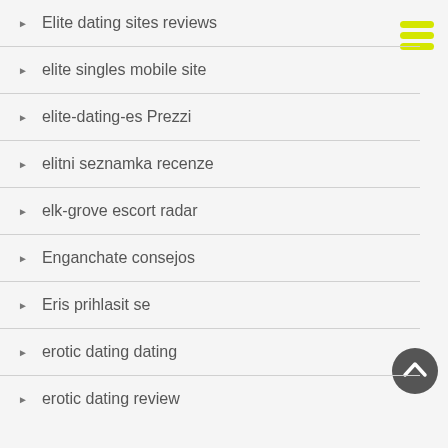Elite dating sites reviews
elite singles mobile site
elite-dating-es Prezzi
elitni seznamka recenze
elk-grove escort radar
Enganchate consejos
Eris prihlasit se
erotic dating dating
erotic dating review